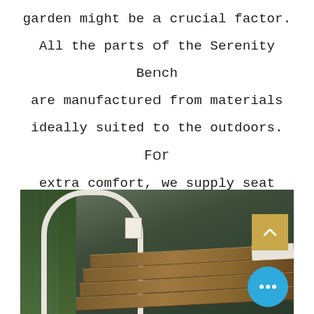garden might be a crucial factor. All the parts of the Serenity Bench are manufactured from materials ideally suited to the outdoors. For extra comfort, we supply seat pads in 3 different colours, charcoal, green, and burgundy.
[Figure (photo): Outdoor photo showing a wooden bench with white arch frame, plants and corrugated metal fence in background. UI overlays include a gold scroll-up button and blue more-options button.]